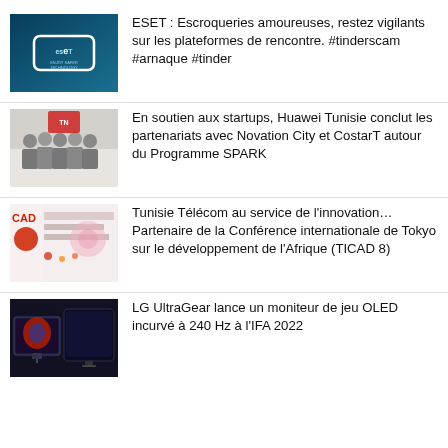ESET : Escroqueries amoureuses, restez vigilants sur les plateformes de rencontre. #tinderscam #arnaque #tinder
En soutien aux startups, Huawei Tunisie conclut les partenariats avec Novation City et CostarT autour du Programme SPARK
Tunisie Télécom au service de l'innovation… Partenaire de la Conférence internationale de Tokyo sur le développement de l'Afrique (TICAD 8)
LG UltraGear lance un moniteur de jeu OLED incurvé à 240 Hz à l'IFA 2022